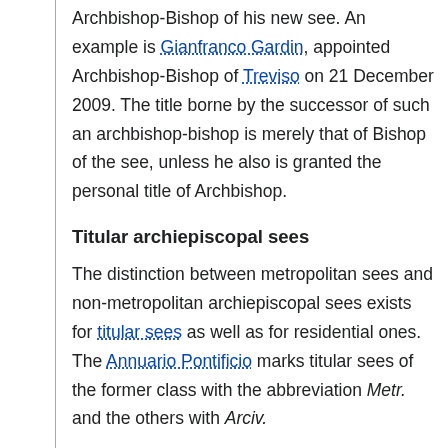Archbishop-Bishop of his new see. An example is Gianfranco Gardin, appointed Archbishop-Bishop of Treviso on 21 December 2009. The title borne by the successor of such an archbishop-bishop is merely that of Bishop of the see, unless he also is granted the personal title of Archbishop.
Titular archiepiscopal sees
The distinction between metropolitan sees and non-metropolitan archiepiscopal sees exists for titular sees as well as for residential ones. The Annuario Pontificio marks titular sees of the former class with the abbreviation Metr. and the others with Arciv.
Many of the titular sees to which nuncios and heads of departments of the Roman Curia who are not cardinals are assigned are not of archiepiscopal